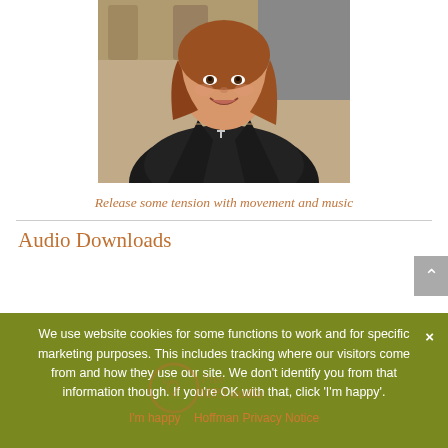[Figure (photo): Portrait photo of a smiling woman with long brown/auburn hair, wearing a dark jacket and layered necklaces including a cross, with wooden logs visible in the background.]
Release some tension with movement and music
Audio Downloads
We use website cookies for some functions to work and for specific marketing purposes. This includes tracking where our visitors come from and how they use our site. We don't identify you from that information though. If you're OK with that, click 'I'm happy'.
I'm happy · Hoffman Privacy Notice
[Figure (logo): Hoffman logo with 'love Q' script and 'Free MP3 audio' text watermark]